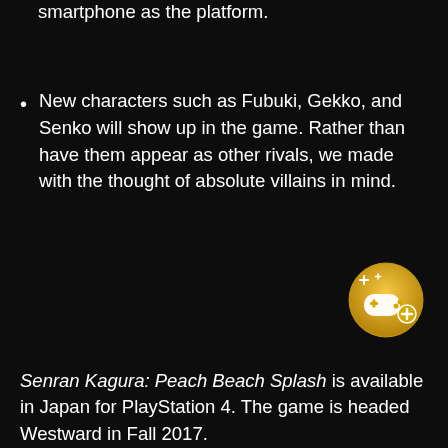smartphone as the platform.
New characters such as Fubuki, Gekko, and Senko will show up in the game. Rather than have them appear as other rivals, we made with the thought of absolute villains in mind.
[Figure (illustration): Gold circular badge/icon featuring a game controller with sparkle effects and a plus symbol]
Senran Kagura: Peach Beach Splash is available in Japan for PlayStation 4. The game is headed Westward in Fall 2017.